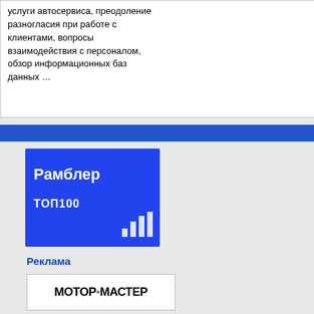услуги автосервиса, преодоление разногласия при работе с клиентами, вопросы взаимодействия с персоналом, обзор информационных баз данных …
Mitril bars, 3... Smithing ma... equipment fr...
It offers many... amounts of m... is called a BI... information c...
[Figure (logo): Рамблер ТОП100 logo — blue rectangle with white text РАМБЛЕР and ТОП100, bar chart icon]
Реклама
[Figure (logo): МОТОР-МАСТЕР banner — white background with bold black text МОТОР•МАСТЕР]
[Figure (logo): Amprog программатор / ACE Lab / универсальные мобильные composite banner]
Наверх
Перейти:   Главный форум